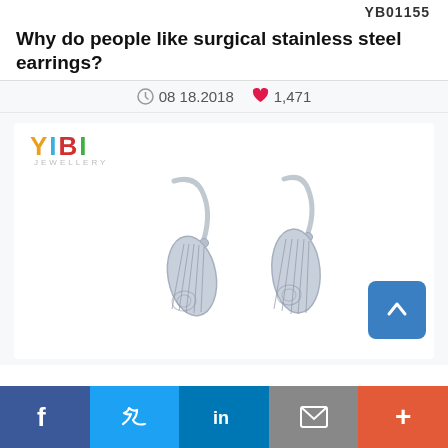YB01155
Why do people like surgical stainless steel earrings?
08 18.2018   1,471
[Figure (logo): YIBI Jewellery colorful logo]
[Figure (photo): Two silver surgical stainless steel angel wing drop earrings with fish hook backs on white background]
Social share buttons: Facebook, Twitter, LinkedIn, Email, More